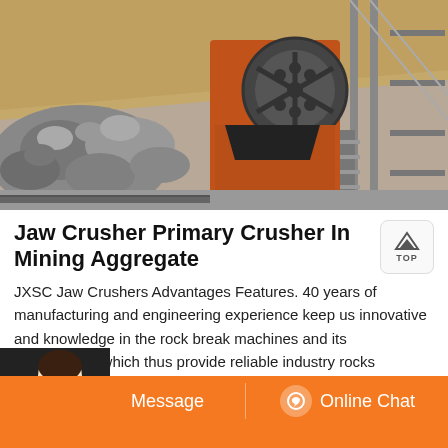[Figure (photo): Industrial jaw crusher machine at a mining/aggregate site. Large orange crusher with flywheel visible, rocks and rubble pile on the left, metal scaffolding and structure on the right, outdoor setting.]
Jaw Crusher Primary Crusher In Mining Aggregate
JXSC Jaw Crushers Advantages Features. 40 years of manufacturing and engineering experience keep us innovative and knowledge in the rock break machines and its applications, which thus provide reliable industry rocks crushers and solutions for every customer using jaw crusher manufacturers JXSC machines to meet their production goals.The jaw…
[Figure (photo): Bottom bar with orange background showing a customer service representative on the left, a Message button in the center-left, and an Online Chat button with headset icon on the right.]